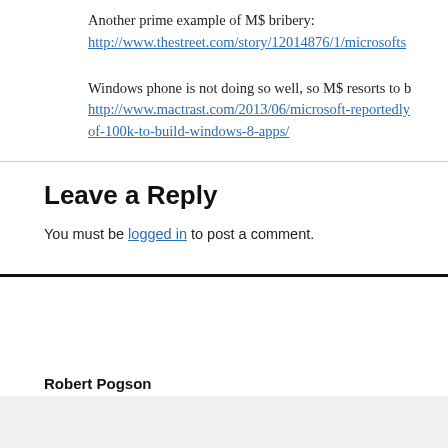Another prime example of M$ bribery: http://www.thestreet.com/story/12014876/1/microsofts
Windows phone is not doing so well, so M$ resorts to b http://www.mactrast.com/2013/06/microsoft-reportedly of-100k-to-build-windows-8-apps/
Leave a Reply
You must be logged in to post a comment.
Robert Pogson